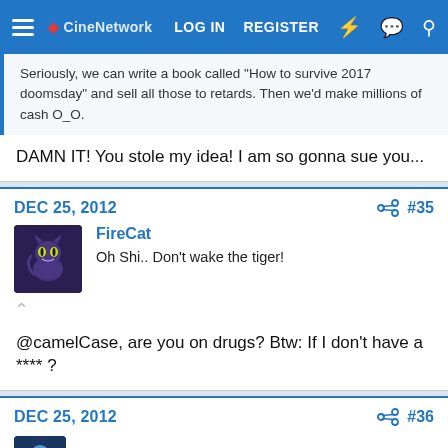LOG IN  REGISTER
Seriously, we can write a book called "How to survive 2017 doomsday" and sell all those to retards. Then we'd make millions of cash O_O.
DAMN IT! You stole my idea! I am so gonna sue you...
DEC 25, 2012  #35
FireCat
Oh Shi.. Don't wake the tiger!
@camelCase, are you on drugs? Btw: If I don't have a **** ?
DEC 25, 2012  #36
Dan